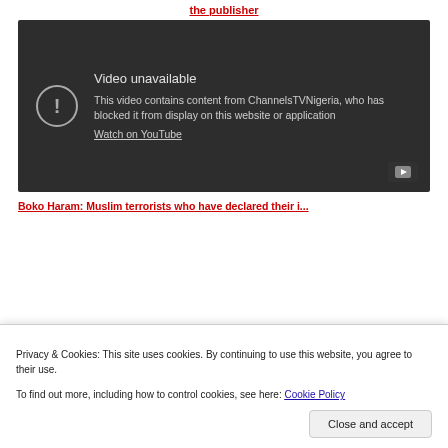the publisher
[Figure (screenshot): YouTube embedded video player showing 'Video unavailable' error message. Dark background with exclamation icon in circle. Text reads: 'Video unavailable. This video contains content from ChannelsTVNigeria, who has blocked it from display on this website or application. Watch on YouTube'. YouTube logo button bottom right.]
Boko Haram: Muslim terrorists who have declared their...
Privacy & Cookies: This site uses cookies. By continuing to use this website, you agree to their use.
To find out more, including how to control cookies, see here: Cookie Policy
Close and accept
Among Pastor Ananim's last words were those...